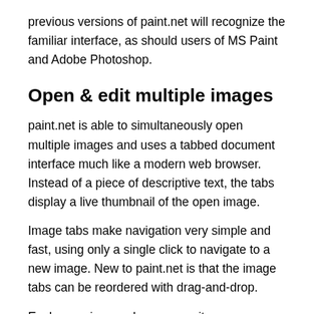previous versions of paint.net will recognize the familiar interface, as should users of MS Paint and Adobe Photoshop.
Open & edit multiple images
paint.net is able to simultaneously open multiple images and uses a tabbed document interface much like a modern web browser.  Instead of a piece of descriptive text, the tabs display a live thumbnail of the open image.
Image tabs make navigation very simple and fast, using only a single click to navigate to a new image. New to paint.net is that the image tabs can be reordered with drag-and-drop.
Each open image shows up as its own Windows taskbar item (this can be disabled in the brand new